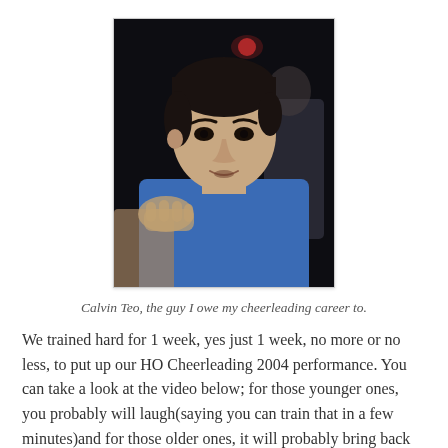[Figure (photo): Photo of Calvin Teo, a young Asian man wearing a blue shirt, taken at night outdoors. Another person's hand is visible on his shoulder.]
Calvin Teo, the guy I owe my cheerleading career to.
We trained hard for 1 week, yes just 1 week, no more or no less, to put up our HO Cheerleading 2004 performance. You can take a look at the video below; for those younger ones, you probably will laugh(saying you can train that in a few minutes)and for those older ones, it will probably bring back